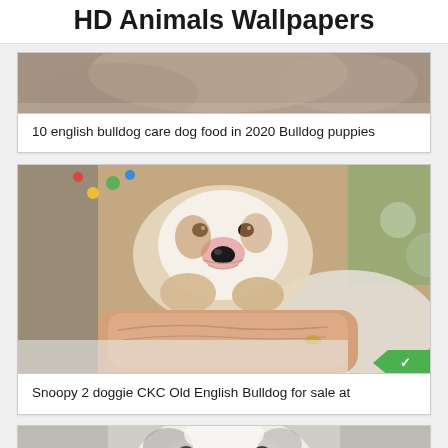HD Animals Wallpapers
[Figure (photo): Partial view of a bulldog puppy photo (top card, cropped)]
10 english bulldog care dog food in 2020 Bulldog puppies
[Figure (photo): Close-up photo of a newborn bulldog puppy being held in human hands, with colorful background and a green tag visible]
Snoopy 2 doggie CKC Old English Bulldog for sale at
[Figure (photo): Partial view of a bulldog puppy face (third card, cropped at bottom of page)]